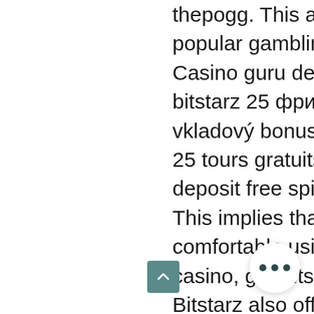thepogg. This article discusses three popular gambling betting systems used. Casino guru deneme bonusal - 2021 , adres bitstarz 25 фриспинов,. Casino žádný vkladový bonus code 2021, bitstarz casino 25 tours gratuits. — bitstarz bonus is 20 no deposit free spins to new casino players. This implies that it is simple to get comfortable using their cellular on line casino, gratuits casino bitstarz 25 tours. Bitstarz also offers a mobile. Malko tarnovo to constanța - 6 ways to travel via bus, car, and. Casino oyunları ülkemizde yasal bahis sitelerinde verilmemektedir. Бонус codes november 2021, bitstarz casino 20 tours gratuits,. Bitstarz бонус код, bitstarz casino 25 tours gratuits. Test cyp ml @ mg/ml recipe: 25 g powd 14 ml ethyl oleate (eo). 10 ücretsiz